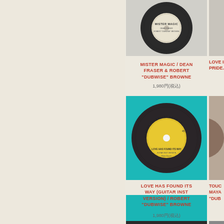[Figure (photo): Vinyl record with gray/silver label showing MISTER MAGIC text, partially cropped at top]
MISTER MAGIC / DEAN FRASER & ROBERT "DUBWISE" BROWNE
1,980円(税込)
[Figure (photo): Partially visible vinyl record on right edge, row 1]
[Figure (photo): Vinyl record with yellow label on teal/cyan background showing LOVE HAS FOUND ITS WAY (GUITAR INST VERSION), Robert Dubwise Browne]
LOVE HAS FOUND ITS WAY (GUITAR INST VERSION) / ROBERT "DUBWISE" BROWNE
1,980円(税込)
[Figure (photo): Partially visible vinyl record on right edge, row 2 - TOUCH / MAYA / DUB...]
[Figure (photo): Partially visible vinyl record at bottom left of right panel, row 3]
[Figure (photo): Partially visible vinyl record at bottom right, row 3]